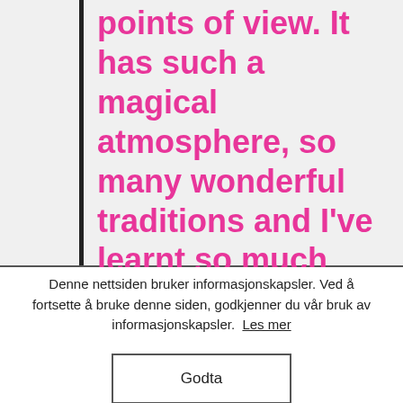points of view. It has such a magical atmosphere, so many wonderful traditions and I've learnt so much since the moment I came. You could experience the magic of northern lights, the famous fjords, the cosiest Christmas ever and what being cold really means.
Denne nettsiden bruker informasjonskapsler. Ved å fortsette å bruke denne siden, godkjenner du vår bruk av informasjonskapsler.  Les mer
Godta